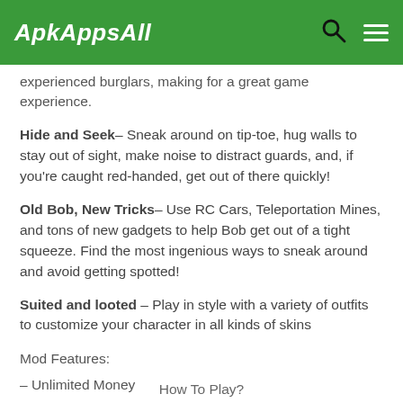ApkAppsAll
experienced burglars, making for a great game experience.
Hide and Seek– Sneak around on tip-toe, hug walls to stay out of sight, make noise to distract guards, and, if you're caught red-handed, get out of there quickly!
Old Bob, New Tricks– Use RC Cars, Teleportation Mines, and tons of new gadgets to help Bob get out of a tight squeeze. Find the most ingenious ways to sneak around and avoid getting spotted!
Suited and looted – Play in style with a variety of outfits to customize your character in all kinds of skins
Mod Features:
– Unlimited Money
– Lot Of Gems
– All Levels unlocked
– No ADS
How To Play?